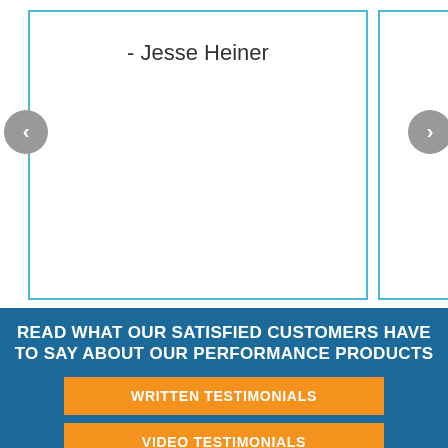- Jesse Heiner
READ WHAT OUR SATISFIED CUSTOMERS HAVE TO SAY ABOUT OUR PERFORMANCE PRODUCTS
WRITTEN TESTIMONIALS
VIDEO TESTIMONIALS